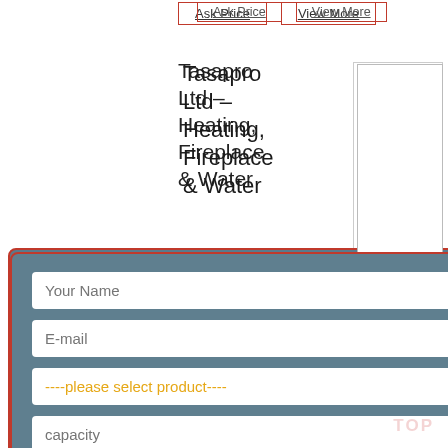[Figure (screenshot): Website product listing page showing a modal dialog overlay. Top area shows 'Ask Price' and 'View More' buttons. Below is a product titled 'Tasapro Ltd – Heating, Fireplace & Water...' with a product image placeholder. A modal form dialog is overlaid with a red border on a blue-grey background, containing fields: 'Your Name', 'E-mail', a dropdown '----please select product----', a 'capacity' field, and a red 'SUBMIT' button. An X close button is in the top-right of the modal. Beside the modal, partial text is visible: 'Heating Equipment,', 'r Controls, Radson', 'ating Promotional', 'red boiler or a', 'and save money in'. Below is 'the long term', then 'Ask Price' and 'View More' buttons. At bottom 'Water for' text. A faint pink watermark 'TOP' appears at bottom right.]
Tasapro Ltd – Heating, Fireplace & Water
Heating Equipment, r Controls, Radson ating Promotional red boiler or a and save money in the long term